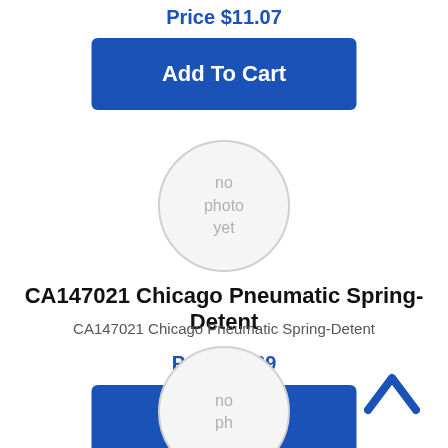Price $11.07
[Figure (other): Add To Cart button (blue rectangle)]
[Figure (other): Circular placeholder image with text 'no photo yet']
CA147021 Chicago Pneumatic Spring-Detent
CA147021 Chicago Pneumatic Spring-Detent
Price $5.39
[Figure (other): Add To Cart button (blue rectangle)]
[Figure (other): Chevron up arrow icon]
[Figure (other): Partially visible circular placeholder image at bottom]